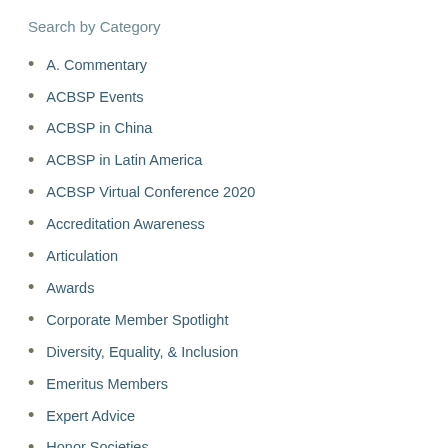Search by Category
A. Commentary
ACBSP Events
ACBSP in China
ACBSP in Latin America
ACBSP Virtual Conference 2020
Accreditation Awareness
Articulation
Awards
Corporate Member Spotlight
Diversity, Equality, & Inclusion
Emeritus Members
Expert Advice
Honor Societies
Ideas & Trends
Innovation
Leadership Insights